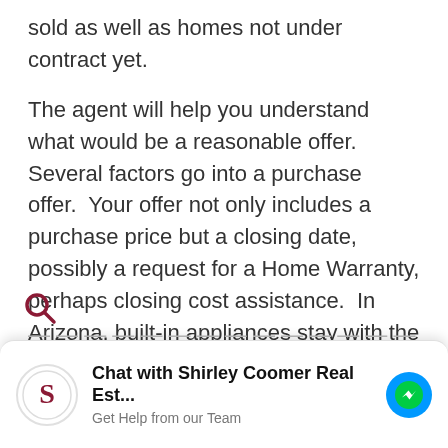sold as well as homes not under contract yet.
The agent will help you understand what would be a reasonable offer.  Several factors go into a purchase offer.  Your offer not only includes a purchase price but a closing date, possibly a request for a Home Warranty, perhaps closing cost assistance.  In Arizona, built-in appliances stay with the house.  A Refrigerator, washer, and dryer are considered personal property, and may or may not be included in the sale.  Often these appliances are part of the negotiations.
way to your new home!